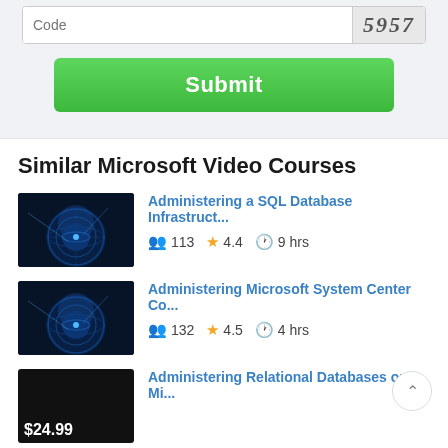[Figure (screenshot): Form input field with placeholder 'Code' and a captcha image showing '5957']
Submit
Similar Microsoft Video Courses
[Figure (photo): Thumbnail image of glowing blue globe on dark background for SQL Database course]
Administering a SQL Database Infrastruct...
113  4.4  9 hrs
[Figure (photo): Thumbnail image of glowing blue globe on dark background for Microsoft System Center course]
Administering Microsoft System Center Co...
132  4.5  4 hrs
[Figure (photo): Thumbnail image showing $24.99 price label on dark background for Relational Databases course]
Administering Relational Databases on Mi...